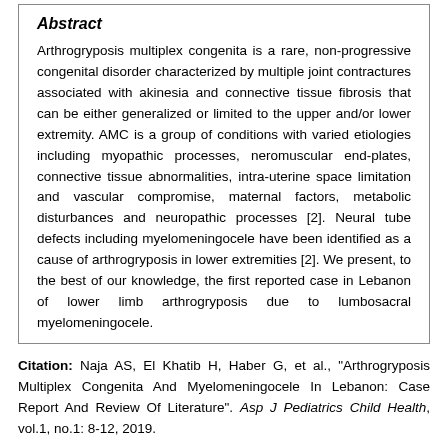Abstract
Arthrogryposis multiplex congenita is a rare, non-progressive congenital disorder characterized by multiple joint contractures associated with akinesia and connective tissue fibrosis that can be either generalized or limited to the upper and/or lower extremity. AMC is a group of conditions with varied etiologies including myopathic processes, neromuscular end-plates, connective tissue abnormalities, intra-uterine space limitation and vascular compromise, maternal factors, metabolic disturbances and neuropathic processes [2]. Neural tube defects including myelomeningocele have been identified as a cause of arthrogryposis in lower extremities [2]. We present, to the best of our knowledge, the first reported case in Lebanon of lower limb arthrogryposis due to lumbosacral myelomeningocele.
Citation: Naja AS, El Khatib H, Haber G, et al., "Arthrogryposis Multiplex Congenita And Myelomeningocele In Lebanon: Case Report And Review Of Literature". Asp J Pediatrics Child Health, vol.1, no.1: 8-12, 2019.